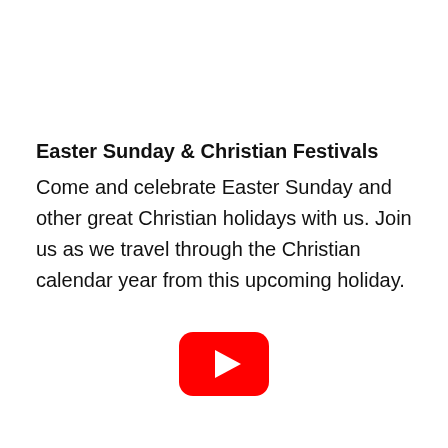Easter Sunday & Christian Festivals
Come and celebrate Easter Sunday and other great Christian holidays with us. Join us as we travel through the Christian calendar year from this upcoming holiday.
[Figure (logo): YouTube play button logo: red rounded rectangle with white triangle play arrow in center]